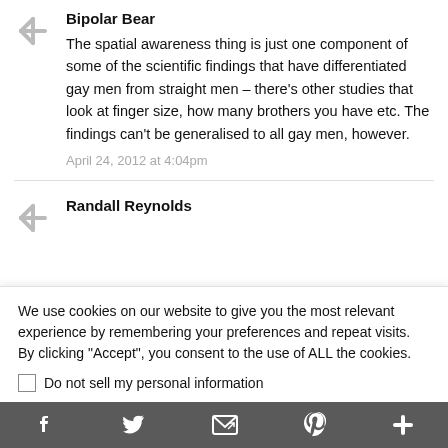Bipolar Bear
The spatial awareness thing is just one component of some of the scientific findings that have differentiated gay men from straight men – there's other studies that look at finger size, how many brothers you have etc. The findings can't be generalised to all gay men, however.
April 24, 2012 at 4:04pm
Randall Reynolds
We use cookies on our website to give you the most relevant experience by remembering your preferences and repeat visits. By clicking "Accept", you consent to the use of ALL the cookies.
Do not sell my personal information
Cookie Settings
Accept